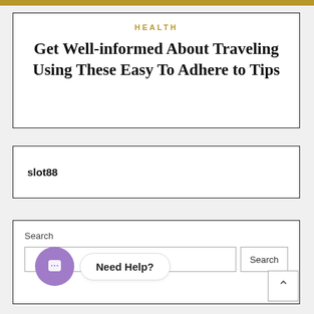HEALTH
Get Well-informed About Traveling Using These Easy To Adhere to Tips
slot88
Search
Need Help?
Search